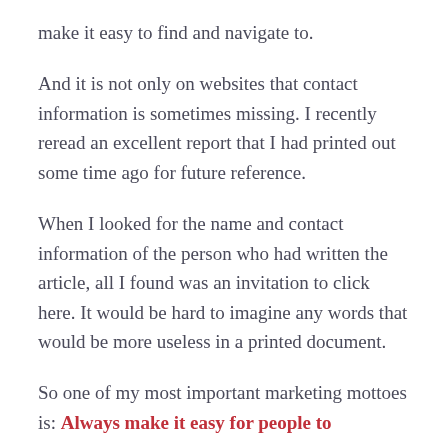make it easy to find and navigate to.
And it is not only on websites that contact information is sometimes missing. I recently reread an excellent report that I had printed out some time ago for future reference.
When I looked for the name and contact information of the person who had written the article, all I found was an invitation to click here. It would be hard to imagine any words that would be more useless in a printed document.
So one of my most important marketing mottoes is: Always make it easy for people to